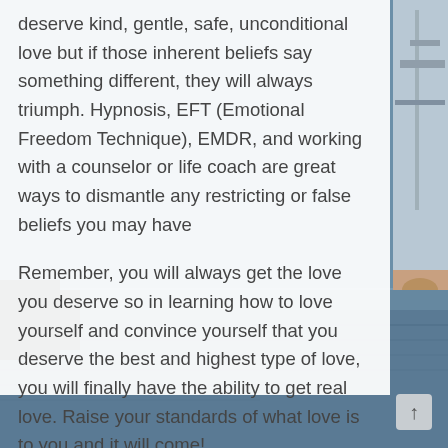deserve kind, gentle, safe, unconditional love but if those inherent beliefs say something different, they will always triumph. Hypnosis, EFT (Emotional Freedom Technique), EMDR, and working with a counselor or life coach are great ways to dismantle any restricting or false beliefs you may have
Remember, you will always get the love you deserve so in learning how to love yourself and convince yourself that you deserve the best and highest type of love, you will finally have the ability to get real love. Raise your standards of what love is to you and it will come!
[Figure (photo): Background photo of a boat/ship on the right side and ocean water at the bottom of the page.]